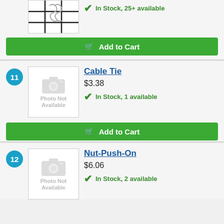[Figure (screenshot): Partial product image with grid/wire pattern, top of page, cropped]
In Stock, 25+ available
Add to Cart
11
[Figure (photo): Photo Not Available placeholder image for Cable Tie]
Cable Tie
$3.38
In Stock, 1 available
Add to Cart
12
[Figure (photo): Photo Not Available placeholder image for Nut-Push-On]
Nut-Push-On
$6.06
In Stock, 2 available